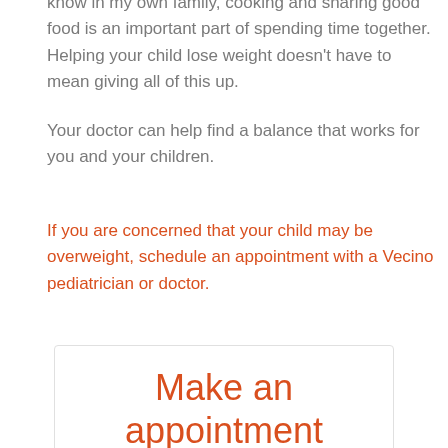know in my own family, cooking and sharing good food is an important part of spending time together. Helping your child lose weight doesn't have to mean giving all of this up.
Your doctor can help find a balance that works for you and your children.
If you are concerned that your child may be overweight, schedule an appointment with a Vecino pediatrician or doctor.
Make an appointment
Schedule an exam